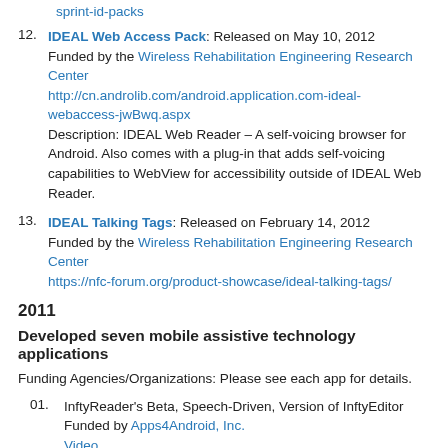sprint-id-packs
12. IDEAL Web Access Pack: Released on May 10, 2012 Funded by the Wireless Rehabilitation Engineering Research Center http://cn.androlib.com/android.application.com-ideal-webaccess-jwBwq.aspx Description: IDEAL Web Reader – A self-voicing browser for Android. Also comes with a plug-in that adds self-voicing capabilities to WebView for accessibility outside of IDEAL Web Reader.
13. IDEAL Talking Tags: Released on February 14, 2012 Funded by the Wireless Rehabilitation Engineering Research Center https://nfc-forum.org/product-showcase/ideal-talking-tags/
2011
Developed seven mobile assistive technology applications
Funding Agencies/Organizations: Please see each app for details.
01. InftyReader's Beta, Speech-Driven, Version of InftyEditor Funded by Apps4Android, Inc. Video
02. Samsung Tab Serving as a Notetaker with a Braille Keyboard! Funded by Apps4Android, Inc. Video